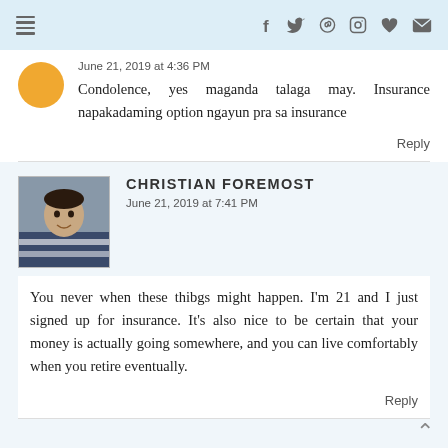Navigation bar with menu icon and social icons: f, twitter, pinterest, instagram, heart, mail
June 21, 2019 at 4:36 PM
Condolence, yes maganda talaga may. Insurance napakadaming option ngayun pra sa insurance
Reply
CHRISTIAN FOREMOST
June 21, 2019 at 7:41 PM
You never when these thibgs might happen. I'm 21 and I just signed up for insurance. It's also nice to be certain that your money is actually going somewhere, and you can live comfortably when you retire eventually.
Reply